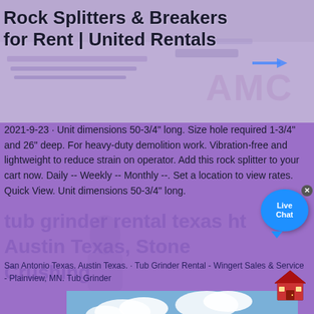Rock Splitters & Breakers for Rent | United Rentals
[Figure (photo): Banner image of heavy construction/mining equipment, partially obscured by AMC watermark logo overlay on purple background]
2021-9-23 · Unit dimensions 50-3/4" long. Size hole required 1-3/4" and 26" deep. For heavy-duty demolition work. Vibration-free and lightweight to reduce strain on operator. Add this rock splitter to your cart now. Daily -- Weekly -- Monthly --. Set a location to view rates. Quick View. Unit dimensions 50-3/4" long.
San Antonio Texas. Austin Texas. · Tub Grinder Rental - Wingert Sales & Service - Plainview, MN. Tub Grinder
[Figure (photo): Industrial mining/crushing facility with large yellow and blue machinery, conveyor belts and steel framework structures against a blue sky with clouds]
[Figure (illustration): Small red house icon in bottom right corner of page]